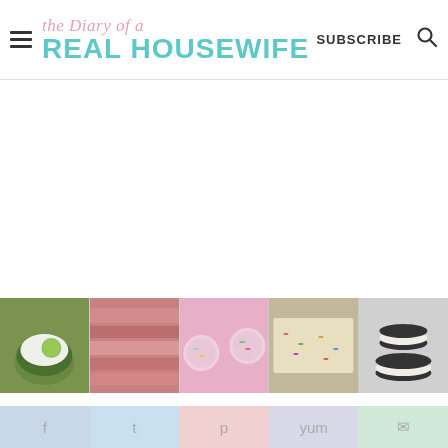the Diary of a REAL HOUSEWIFE | SUBSCRIBE
[Figure (photo): Horizontal strip of five food photos: key lime dip in green bowl, pink glazed pork, colorful sugar cookies on pink background, funfetti bars, oreo sandwich cookies]
Key Lime Dump Cake - The Frugal
f  t  p  yum  email social sharing bar